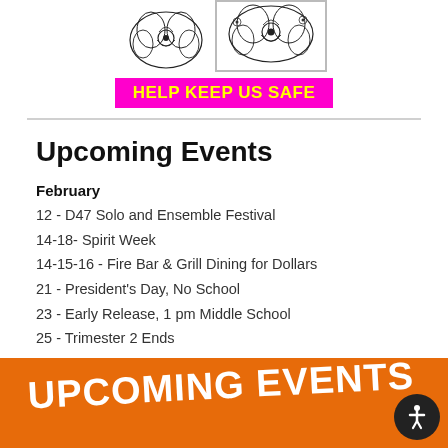[Figure (illustration): Two decorative floral/butterfly illustrations side by side at top of page, right one in a bordered box]
HELP KEEP US SAFE
Upcoming Events
February
12 - D47 Solo and Ensemble Festival
14-18- Spirit Week
14-15-16 - Fire Bar & Grill Dining for Dollars
21 - President's Day, No School
23 - Early Release, 1 pm Middle School
25 - Trimester 2 Ends
[Figure (illustration): Orange banner at bottom with white bold text reading UPCOMING EVENTS, slightly rotated]